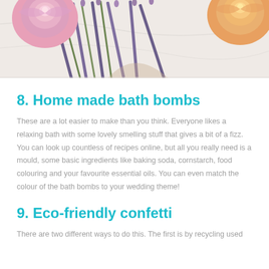[Figure (photo): Photo of lavender sprigs and pink and orange roses arranged on a marble surface]
8. Home made bath bombs
These are a lot easier to make than you think. Everyone likes a relaxing bath with some lovely smelling stuff that gives a bit of a fizz. You can look up countless of recipes online, but all you really need is a mould, some basic ingredients like baking soda, cornstarch, food colouring and your favourite essential oils. You can even match the colour of the bath bombs to your wedding theme!
9. Eco-friendly confetti
There are two different ways to do this. The first is by recycling used